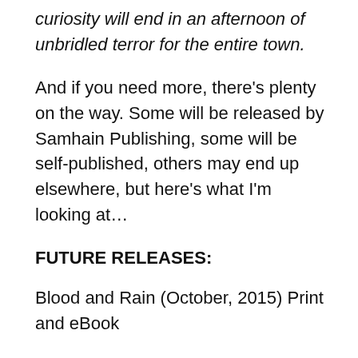curiosity will end in an afternoon of unbridled terror for the entire town.
And if you need more, there’s plenty on the way. Some will be released by Samhain Publishing, some will be self-published, others may end up elsewhere, but here’s what I’m looking at…
FUTURE RELEASES:
Blood and Rain (October, 2015) Print and eBook
Slush (2015) Audio and Print